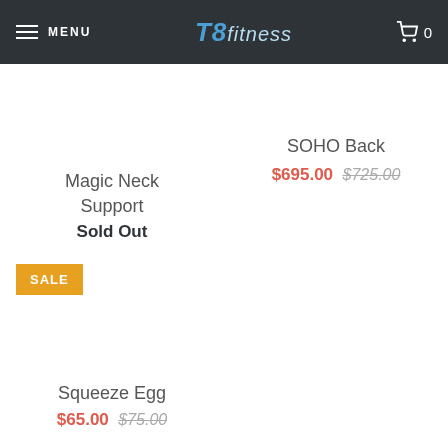MENU | T8 fitness | Cart 0
Magic Neck Support
Sold Out
SOHO Back
$695.00 $725.00
SALE
Squeeze Egg
$65.00 $75.00